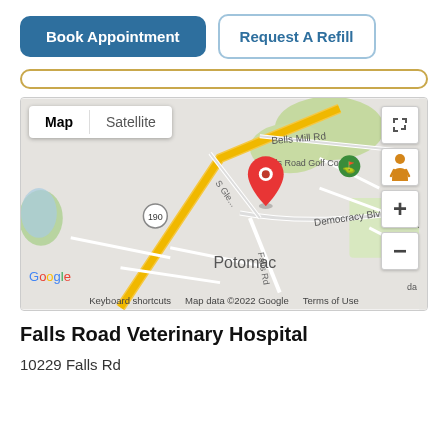Book Appointment
Request A Refill
[Figure (map): Google Map showing Potomac, MD area with a red location pin on Falls Rd near Democracy Blvd. Map/Satellite toggle visible. Shows Falls Road Golf Course, Bells Mill Rd, route 190, and Potomac label.]
Falls Road Veterinary Hospital
10229 Falls Rd